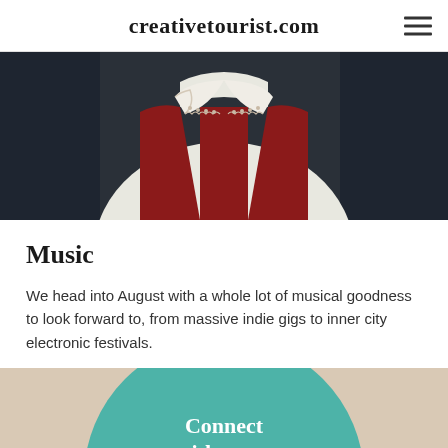creativetourist.com
[Figure (photo): Close-up photo of a person wearing a red knitted vest over a white shirt with decorative white lace collar]
Music
We head into August with a whole lot of musical goodness to look forward to, from massive indie gigs to inner city electronic festivals.
Read our guide
[Figure (infographic): Teal circular badge with text 'Connect with us on Facebook' and a Facebook logo icon, on a beige background]